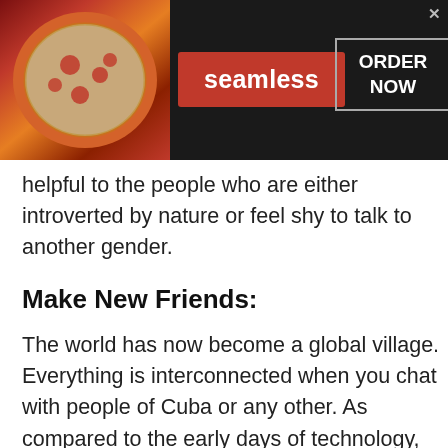[Figure (screenshot): Seamless food delivery advertisement banner with pizza image on left, red 'seamless' button in center, and 'ORDER NOW' box on right, dark background, with X close button]
helpful to the people who are either introverted by nature or feel shy to talk to another gender.
Make New Friends:
The world has now become a global village. Everything is interconnected when you chat with people of Cuba or any other. As compared to the early days of technology, when making new friends over different nationalities was just a fantasy. Now with the talkwithstranger platform, this thing has
[Figure (screenshot): NFL Shop advertisement banner: NFL jersey image on left, text 'NFL Shop', 'Free shipping on orders over $25', 'www.nflshop.com', 'SHOP NOW' button. Blue circular navigation button on right.]